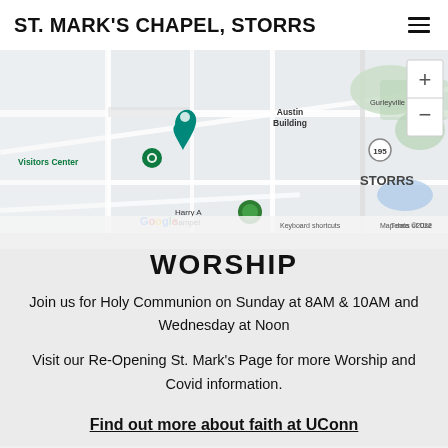ST. MARK'S CHAPEL, STORRS
[Figure (map): Google Maps screenshot showing the area around Storrs, CT near UConn campus. Labels include Visitors Center, Austin Building, Gurleyville Rd, route 195, STORRS, Harry A Gampel, with a location pin marker, zoom controls, Google logo, and map attribution text: Keyboard shortcuts, Map data ©2022, Terms of Use.]
WORSHIP
Join us for Holy Communion on Sunday at 8AM & 10AM and Wednesday at Noon
Visit our Re-Opening St. Mark's Page for more Worship and Covid information.
Find out more about faith at UConn